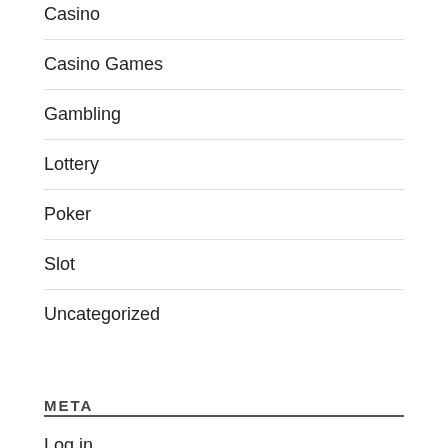Casino
Casino Games
Gambling
Lottery
Poker
Slot
Uncategorized
META
Log in